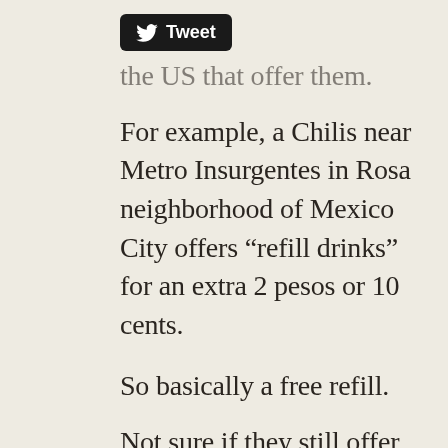[Figure (other): Twitter Tweet button with bird logo]
the US that offer them.
For example, a Chilis near Metro Insurgentes in Rosa neighborhood of Mexico City offers “refill drinks” for an extra 2 pesos or 10 cents.
So basically a free refill.
Not sure if they still offer that